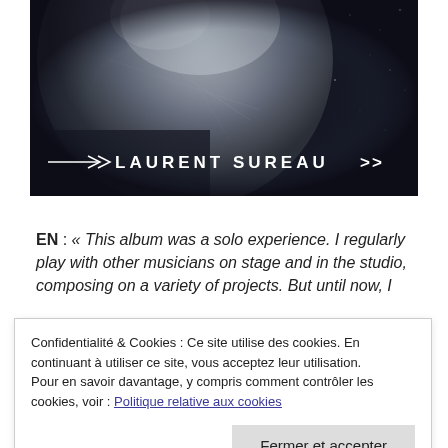[Figure (photo): Dark space/planet background image with a large grey planet and star field, overlaid with white text arrow and 'LAURENT SUREAU >>']
EN : « This album was a solo experience. I regularly play with other musicians on stage and in the studio, composing on a variety of projects. But until now, I
Confidentialité & Cookies : Ce site utilise des cookies. En continuant à utiliser ce site, vous acceptez leur utilisation.
Pour en savoir davantage, y compris comment contrôler les cookies, voir : Politique relative aux cookies
Fermer et accepter